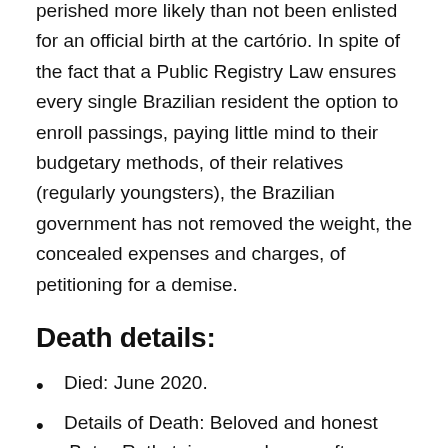perished more likely than not been enlisted for an official birth at the cartório. In spite of the fact that a Public Registry Law ensures every single Brazilian resident the option to enroll passings, paying little mind to their budgetary methods, of their relatives (regularly youngsters), the Brazilian government has not removed the weight, the concealed expenses and charges, of petitioning for a demise.
Death details:
Died: June 2020.
Details of Death: Beloved and honest  Betsy Rothstein passed away after a courageous long battle against cancer.